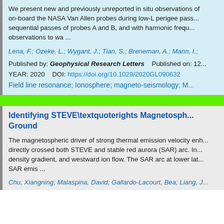We present new and previously unreported in situ observations of on-board the NASA Van Allen probes during low-L perigee passes, sequential passes of probes A and B, and with harmonic frequ... observations to wa ...
Lena, F.; Ozeke, L.; Wygant, J.; Tian, S.; Breneman, A.; Mann, I.;
Published by: Geophysical Research Letters    Published on: 12...
YEAR: 2020    DOI: https://doi.org/10.1029/2020GL090632
Field line resonance; Ionosphere; magneto-seismology; M...
Identifying STEVE\textquoterights Magnetosph... Ground
The magnetospheric driver of strong thermal emission velocity enh... directly crossed both STEVE and stable red aurora (SAR) arc. In... density gradient, and westward ion flow. The SAR arc at lower lat... SAR emis ...
Chu, Xiangning; Malaspina, David; Gallardo-Lacourt, Bea; Liang, J...